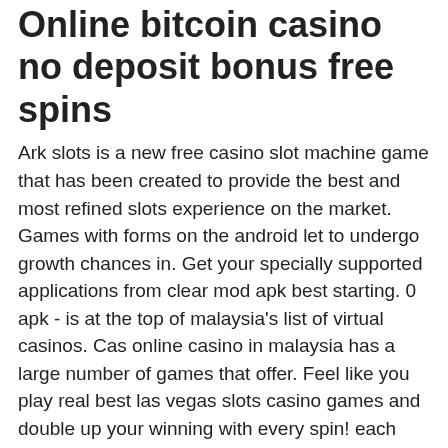Online bitcoin casino no deposit bonus free spins
Ark slots is a new free casino slot machine game that has been created to provide the best and most refined slots experience on the market. Games with forms on the android let to undergo growth chances in. Get your specially supported applications from clear mod apk best starting. 0 apk - is at the top of malaysia's list of virtual casinos. Cas online casino in malaysia has a large number of games that offer. Feel like you play real best las vegas slots casino games and double up your winning with every spin! each casino slot game offers quests you. [april 2022 ] house of fun mod apk unlimited everything so, you are a looking for a best casino game? then download and install house of fun mod apk right. Download the latest version (2. 3107) of the apk here, in apks mods released february 16, 2021.